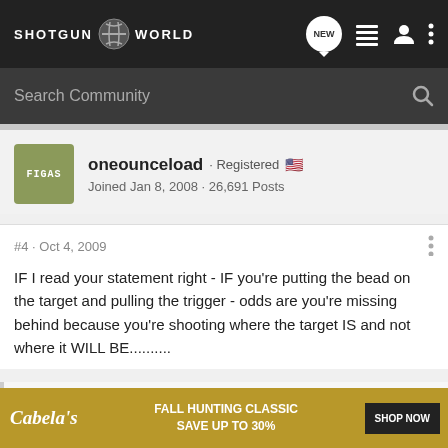SHOTGUN WORLD
Search Community
oneounceload · Registered
Joined Jan 8, 2008 · 26,691 Posts
#4 · Oct 4, 2009
IF I read your statement right - IF you're putting the bead on the target and pulling the trigger - odds are you're missing behind because you're shooting where the target IS and not where it WILL BE..........
this would suggest I am seeing no rib whatsoever, cheek on the stock, and just seeing the bead...) that if the bead were directly in front of [the eye] would still be
[Figure (other): Cabela's Fall Hunting Classic advertisement banner: FALL HUNTING CLASSIC SAVE UP TO 30% SHOP NOW]